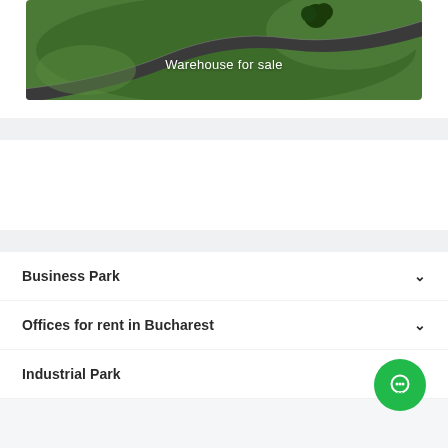[Figure (photo): Aerial view of a warehouse/industrial park with green grass, a winding road, and a tree. Text overlay reads 'Warehouse for sale'.]
Business Park
Offices for rent in Bucharest
Industrial Park